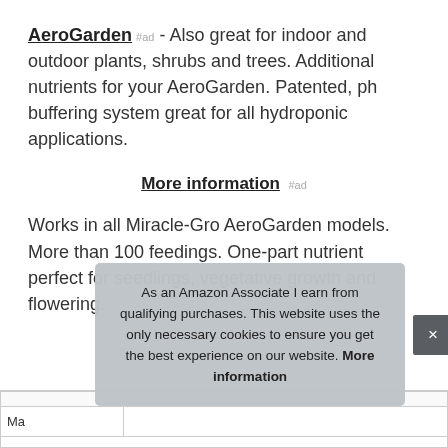AeroGarden #ad - Also great for indoor and outdoor plants, shrubs and trees. Additional nutrients for your AeroGarden. Patented, ph buffering system great for all hydroponic applications.
More information #ad
Works in all Miracle-Gro AeroGarden models. More than 100 feedings. One-part nutrient perfect for seedlings, vegetative growth and flowering.
|  |  |
| --- | --- |
| M... |  |
As an Amazon Associate I earn from qualifying purchases. This website uses the only necessary cookies to ensure you get the best experience on our website. More information